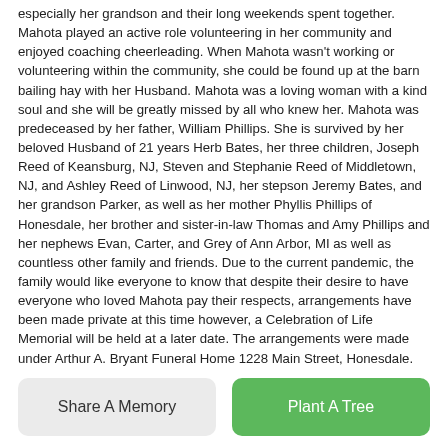especially her grandson and their long weekends spent together. Mahota played an active role volunteering in her community and enjoyed coaching cheerleading. When Mahota wasn't working or volunteering within the community, she could be found up at the barn bailing hay with her Husband. Mahota was a loving woman with a kind soul and she will be greatly missed by all who knew her. Mahota was predeceased by her father, William Phillips. She is survived by her beloved Husband of 21 years Herb Bates, her three children, Joseph Reed of Keansburg, NJ, Steven and Stephanie Reed of Middletown, NJ, and Ashley Reed of Linwood, NJ, her stepson Jeremy Bates, and her grandson Parker, as well as her mother Phyllis Phillips of Honesdale, her brother and sister-in-law Thomas and Amy Phillips and her nephews Evan, Carter, and Grey of Ann Arbor, MI as well as countless other family and friends. Due to the current pandemic, the family would like everyone to know that despite their desire to have everyone who loved Mahota pay their respects, arrangements have been made private at this time however, a Celebration of Life Memorial will be held at a later date. The arrangements were made under Arthur A. Bryant Funeral Home 1228 Main Street, Honesdale.
Share A Memory
Plant A Tree